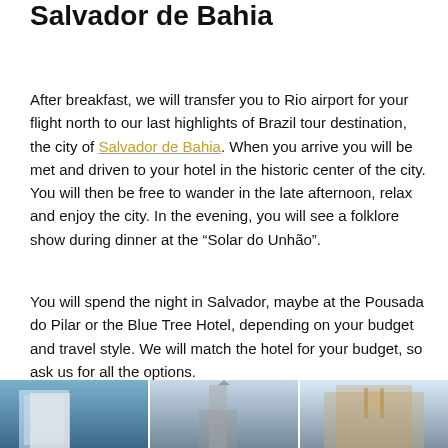Salvador de Bahia
After breakfast, we will transfer you to Rio airport for your flight north to our last highlights of Brazil tour destination, the city of Salvador de Bahia. When you arrive you will be met and driven to your hotel in the historic center of the city. You will then be free to wander in the late afternoon, relax and enjoy the city. In the evening, you will see a folklore show during dinner at the “Solar do Unhão”.
You will spend the night in Salvador, maybe at the Pousada do Pilar or the Blue Tree Hotel, depending on your budget and travel style. We will match the hotel for your budget, so ask us for all the options.
[Figure (photo): Three photos side by side: left shows a blue modern building, center shows a church/tower silhouette, right shows an ornate cathedral facade against cloudy sky]